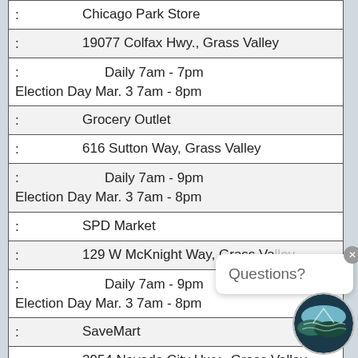| : | Chicago Park Store |
| : | 19077 Colfax Hwy., Grass Valley |
| : | Daily 7am - 7pm
Election Day Mar. 3 7am - 8pm |
| : | Grocery Outlet |
| : | 616 Sutton Way, Grass Valley |
| : | Daily 7am - 9pm
Election Day Mar. 3 7am - 8pm |
| : | SPD Market |
| : | 129 W McKnight Way, Grass Valley |
| : | Daily 7am - 9pm
Election Day Mar. 3 7am - 8pm |
| : | SaveMart |
| : | 2954 Nevada City Hwy., Grass Valley |